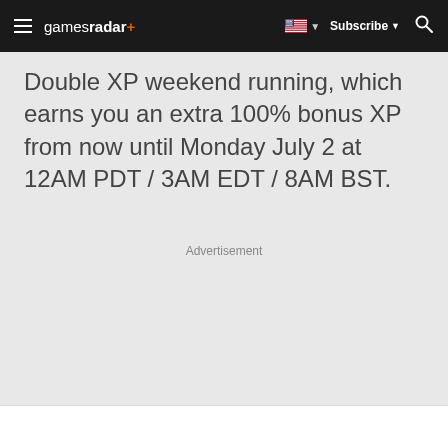gamesradar+ | Subscribe | Search
Double XP weekend running, which earns you an extra 100% bonus XP from now until Monday July 2 at 12AM PDT / 3AM EDT / 8AM BST.
Advertisement